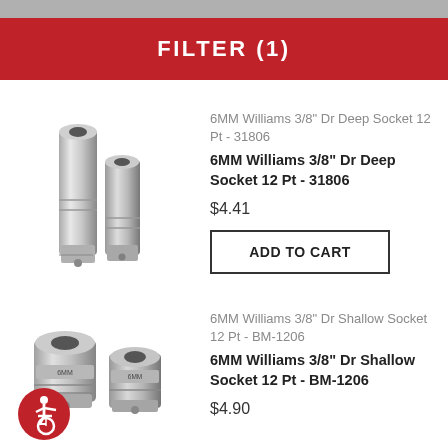FILTER (1)
[Figure (photo): Two chrome deep sockets, Williams brand, shown side by side]
6MM Williams 3/8" Dr Deep Socket 12 Pt - 31806
6MM Williams 3/8" Dr Deep Socket 12 Pt - 31806
$4.41
ADD TO CART
[Figure (photo): Two chrome shallow sockets, Williams brand, shown side by side]
6MM Williams 3/8" Dr Shallow Socket 12 Pt - BM-1206
6MM Williams 3/8" Dr Shallow Socket 12 Pt - BM-1206
$4.90
[Figure (illustration): Accessibility/wheelchair icon in red circle]